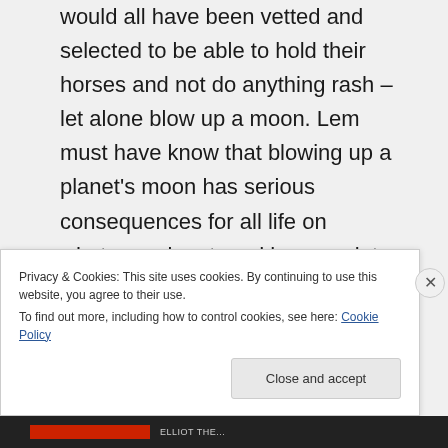would all have been vetted and selected to be able to hold their horses and not do anything rash – let alone blow up a moon. Lem must have know that blowing up a planet's moon has serious consequences for all life on whatever planet, and he even lets the characters mitigate a bit for that. But the
Privacy & Cookies: This site uses cookies. By continuing to use this website, you agree to their use.
To find out more, including how to control cookies, see here: Cookie Policy
Close and accept